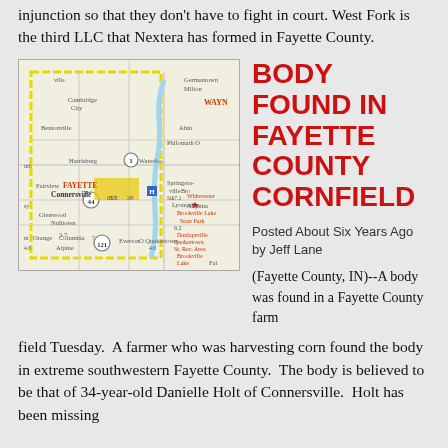injunction so that they don't have to fight in court. West Fork is the third LLC that Nextera has formed in Fayette County.
[Figure (map): Road map of Fayette County, Indiana area showing Connersville, Cambridge City, Bentonville, Harrisburg, Fairview, Glenwood, Orange, Columbia, Alpine, Lyonsville, Waterloo, Springers-ville, Nulltown, Dunlapsville, Quakertown, Everton, Germantown, Milton, Philomath, and surrounding areas with roads and highways marked.]
BODY FOUND IN FAYETTE COUNTY CORNFIELD
Posted About Six Years Ago by Jeff Lane
(Fayette County, IN)--A body was found in a Fayette County farm field Tuesday.  A farmer who was harvesting corn found the body in extreme southwestern Fayette County.  The body is believed to be that of 34-year-old Danielle Holt of Connersville.  Holt has been missing from...